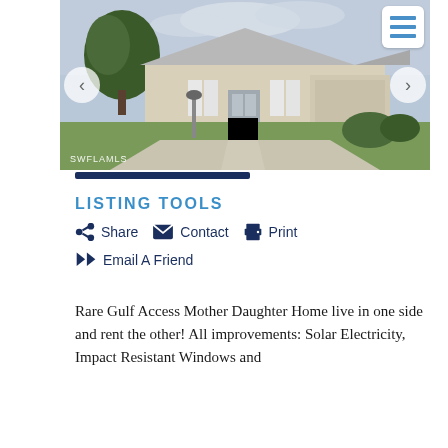[Figure (photo): Exterior photo of a single-story Florida home with metal roof, white shutters, curved driveway, lawn, and shrubs. Navigation arrows on left and right. SWFLAMLS watermark bottom left.]
LISTING TOOLS
Share
Contact
Print
Email A Friend
Rare Gulf Access Mother Daughter Home live in one side and rent the other! All improvements: Solar Electricity, Impact Resistant Windows and